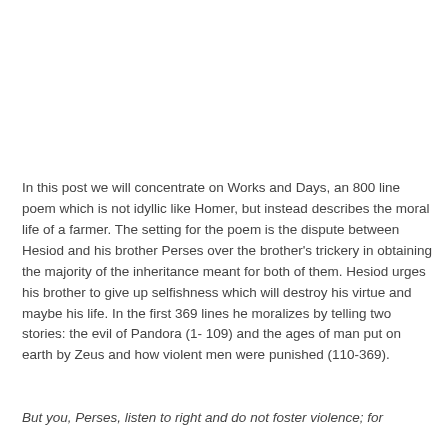In this post we will concentrate on Works and Days, an 800 line poem which is not idyllic like Homer, but instead describes the moral life of a farmer. The setting for the poem is the dispute between Hesiod and his brother Perses over the brother's trickery in obtaining the majority of the inheritance meant for both of them. Hesiod urges his brother to give up selfishness which will destroy his virtue and maybe his life. In the first 369 lines he moralizes by telling two stories: the evil of Pandora (1- 109) and the ages of man put on earth by Zeus and how violent men were punished (110-369).
But you, Perses, listen to right and do not foster violence; for